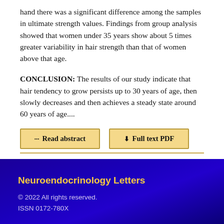hand there was a significant difference among the samples in ultimate strength values. Findings from group analysis showed that women under 35 years show about 5 times greater variability in hair strength than that of women above that age.
CONCLUSION: The results of our study indicate that hair tendency to grow persists up to 30 years of age, then slowly decreases and then achieves a steady state around 60 years of age....
Read abstract | Full text PDF
Neuroendocrinology Letters
© 2022 All rights reserved.
ISSN 0172-780X